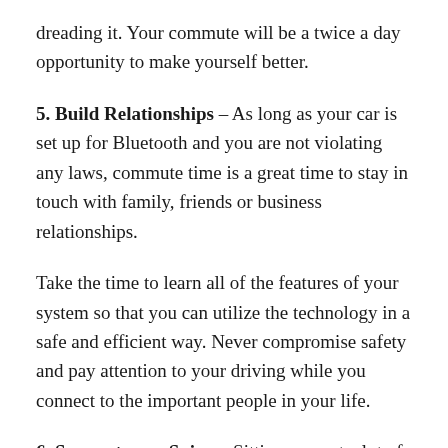dreading it. Your commute will be a twice a day opportunity to make yourself better.
5. Build Relationships – As long as your car is set up for Bluetooth and you are not violating any laws, commute time is a great time to stay in touch with family, friends or business relationships.
Take the time to learn all of the features of your system so that you can utilize the technology in a safe and efficient way. Never compromise safety and pay attention to your driving while you connect to the important people in your life.
6. Support your Spine – Sitting can put a lot of